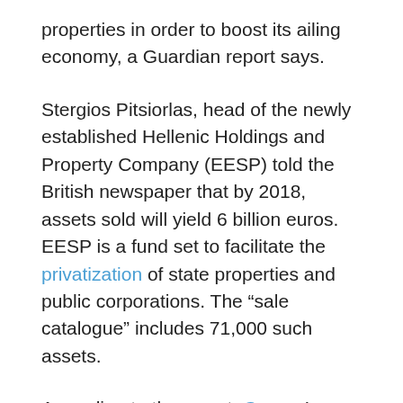properties in order to boost its ailing economy, a Guardian report says.
Stergios Pitsiorlas, head of the newly established Hellenic Holdings and Property Company (EESP) told the British newspaper that by 2018, assets sold will yield 6 billion euros. EESP is a fund set to facilitate the privatization of state properties and public corporations. The “sale catalogue” includes 71,000 such assets.
According to the report, Greece’s lenders “are not taking any chances” after three bailouts and demand that the “super fund” will operate for 99 years. “We have to find money from somewhere,